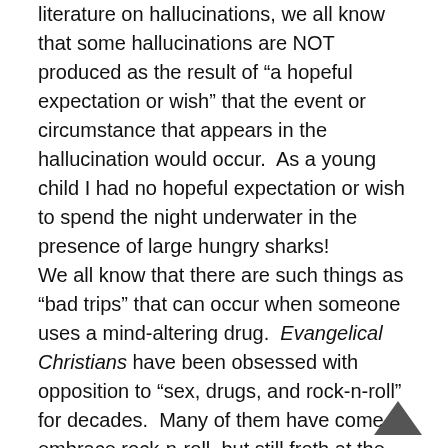literature on hallucinations, we all know that some hallucinations are NOT produced as the result of “a hopeful expectation or wish” that the event or circumstance that appears in the hallucination would occur.  As a young child I had no hopeful expectation or wish to spend the night underwater in the presence of large hungry sharks!
We all know that there are such things as “bad trips” that can occur when someone uses a mind-altering drug.  Evangelical Christians have been obsessed with opposition to “sex, drugs, and rock-n-roll” for decades.  Many of them have come to embrace rock-n-roll, but still froth at the mouth when talking about drugs and sex.  So, if anyone is aware that drugs can